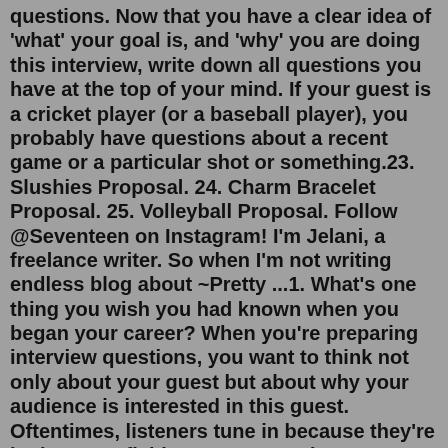questions. Now that you have a clear idea of 'what' your goal is, and 'why' you are doing this interview, write down all questions you have at the top of your mind. If your guest is a cricket player (or a baseball player), you probably have questions about a recent game or a particular shot or something.23. Slushies Proposal. 24. Charm Bracelet Proposal. 25. Volleyball Proposal. Follow @Seventeen on Instagram! I'm Jelani, a freelance writer. So when I'm not writing endless blog about ~Pretty ...1. What's one thing you wish you had known when you began your career? When you're preparing interview questions, you want to think not only about your guest but about why your audience is interested in this guest. Oftentimes, listeners tune in because they're in the same field as your guest (or want to be).FUNNY YOU SHOULD ASK. Funny You Should Ask was launched in 2017 by Byron Allen's Entertainment Studios and is hosted by Jon Kelley. Featuring a rotating panel of top comedians who interact with contestants like Howie Mandel, judge Ti...